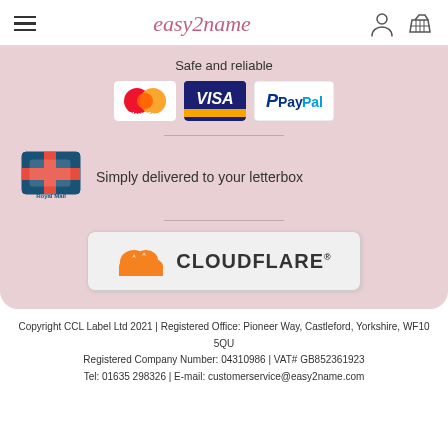easy2name
[Figure (logo): Payment logos: MasterCard, VISA, PayPal]
Safe and reliable
[Figure (logo): Royal Mail logo]
Simply delivered to your letterbox
[Figure (logo): Cloudflare logo]
Copyright CCL Label Ltd 2021 | Registered Office: Pioneer Way, Castleford, Yorkshire, WF10 5QU
Registered Company Number: 04310986 | VAT# GB852361923
Tel: 01635 298326 | E-mail: customerservice@easy2name.com